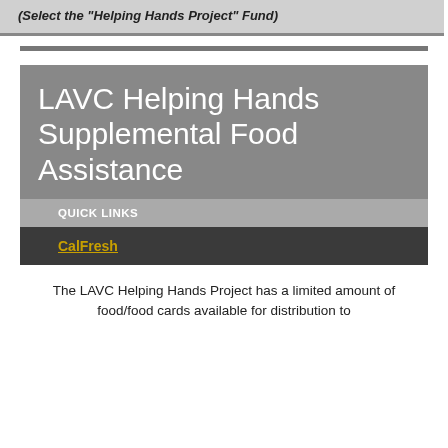(Select the "Helping Hands Project" Fund)
LAVC Helping Hands Supplemental Food Assistance
QUICK LINKS
CalFresh
The LAVC Helping Hands Project has a limited amount of food/food cards available for distribution to